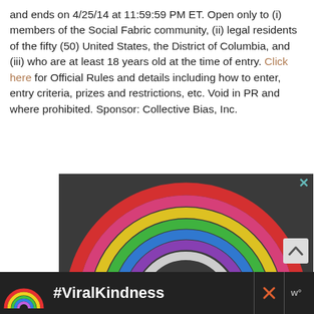and ends on 4/25/14 at 11:59:59 PM ET. Open only to (i) members of the Social Fabric community, (ii) legal residents of the fifty (50) United States, the District of Columbia, and (iii) who are at least 18 years old at the time of entry. Click here for Official Rules and details including how to enter, entry criteria, prizes and restrictions, etc. Void in PR and where prohibited. Sponsor: Collective Bias, Inc.
[Figure (photo): Chalk rainbow drawn on asphalt pavement with colorful chalk sticks (red, pink, yellow, green, blue, purple, white arcs) and pieces of chalk lying at the center bottom.]
[Figure (infographic): Bottom advertisement banner with dark background, small rainbow icon on left, bold white text '#ViralKindness', close X button, and weather/settings icon on far right.]